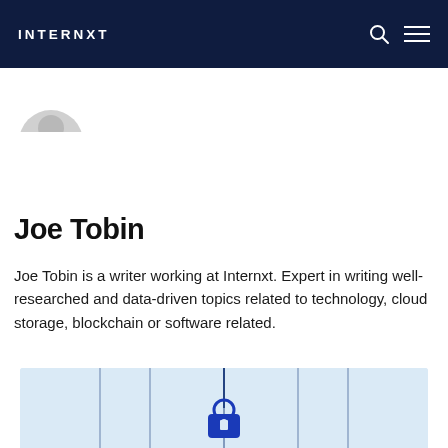INTERNXT
[Figure (illustration): Partial view of a circular profile photo placeholder showing the top arc of a head silhouette in light gray]
Joe Tobin
Joe Tobin is a writer working at Internxt. Expert in writing well-researched and data-driven topics related to technology, cloud storage, blockchain or software related.
[Figure (illustration): Bottom portion of a light blue illustration showing vertical blue lines and a blue keyhole/lock icon shape at center bottom]